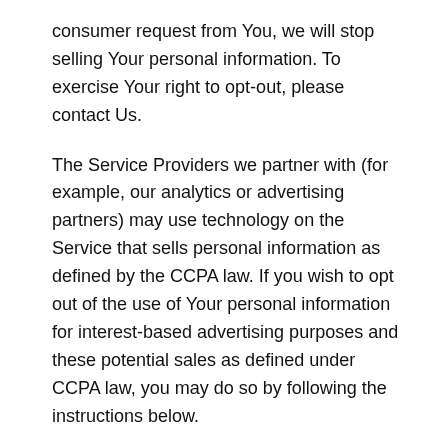consumer request from You, we will stop selling Your personal information. To exercise Your right to opt-out, please contact Us.
The Service Providers we partner with (for example, our analytics or advertising partners) may use technology on the Service that sells personal information as defined by the CCPA law. If you wish to opt out of the use of Your personal information for interest-based advertising purposes and these potential sales as defined under CCPA law, you may do so by following the instructions below.
Please note that any opt out is specific to the browser You use. You may need to opt out on every browser that You use.